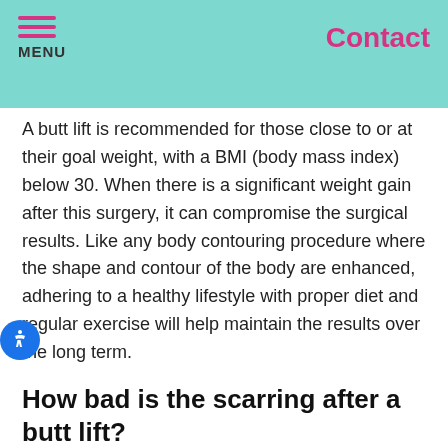MENU | Contact
A butt lift is recommended for those close to or at their goal weight, with a BMI (body mass index) below 30. When there is a significant weight gain after this surgery, it can compromise the surgical results. Like any body contouring procedure where the shape and contour of the body are enhanced, adhering to a healthy lifestyle with proper diet and regular exercise will help maintain the results over the long term.
How bad is the scarring after a butt lift?
As with most skin removal surgeries, there will be some scarring with a butt lift procedure. Dr. Soto will make every effort to minimize scarring and reduce